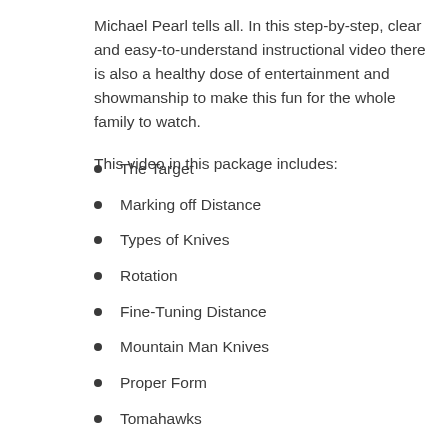Michael Pearl tells all. In this step-by-step, clear and easy-to-understand instructional video there is also a healthy dose of entertainment and showmanship to make this fun for the whole family to watch.
This video in this package includes:
The Target
Marking off Distance
Types of Knives
Rotation
Fine-Tuning Distance
Mountain Man Knives
Proper Form
Tomahawks